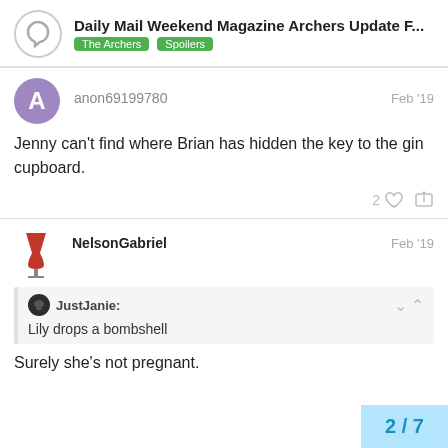Daily Mail Weekend Magazine Archers Update F... | The Archers | Spoilers
anon69199780 Feb '19
Jenny can't find where Brian has hidden the key to the gin cupboard.
NelsonGabriel Feb '19
JustJanie: Lily drops a bombshell
Surely she's not pregnant.
2 / 7